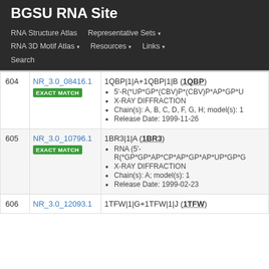BGSU RNA Site
RNA Structure Atlas | Representative Sets | RNA 3D Motif Atlas | Resources | Links | Search
| # | ID | Details |
| --- | --- | --- |
| 604 | NR_3.0_08416.1 EXACT MATCH | 1QBP|1|A+1QBP|1|B (1QBP)
• 5'-R(*UP*GP*(CBV)P*(CBV)P*AP*GP*U
• X-RAY DIFFRACTION
• Chain(s): A, B, C, D, F, G, H; model(s): 1
• Release Date: 1999-11-26 |
| 605 | NR_3.0_10796.1 EXACT MATCH | 1BR3|1|A (1BR3)
• RNA (5'-R(*GP*GP*AP*CP*AP*GP*AP*UP*GP*G
• X-RAY DIFFRACTION
• Chain(s): A; model(s): 1
• Release Date: 1999-02-23 |
| 606 | NR_3.0_12093.1 | 1TFW|1|G+1TFW|1|J (1TFW) |